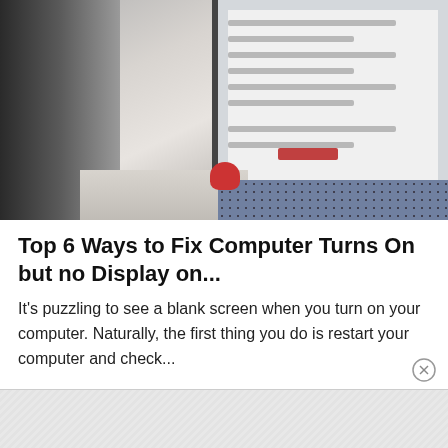[Figure (photo): Photo of a computer monitor/screen on a desk, showing a webpage or document on screen, with a dark window frame on the left and a patterned surface at bottom right. A red object (possibly a hand or accessory) is visible at center-bottom.]
Top 6 Ways to Fix Computer Turns On but no Display on...
It's puzzling to see a blank screen when you turn on your computer. Naturally, the first thing you do is restart your computer and check...
[Figure (photo): Partially visible bottom advertisement or secondary image strip showing a light textured/map-like background.]